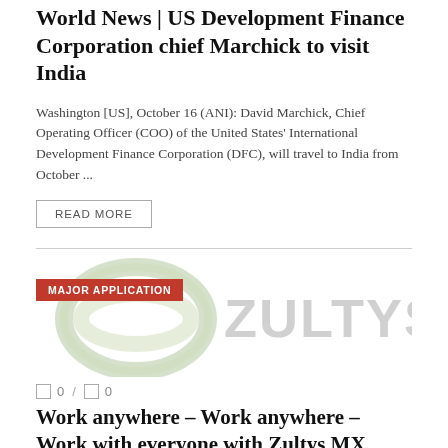World News | US Development Finance Corporation chief Marchick to visit India
Washington [US], October 16 (ANI): David Marchick, Chief Operating Officer (COO) of the United States' International Development Finance Corporation (DFC), will travel to India from October ...
READ MORE
[Figure (logo): Zultys company logo with infinity symbol in light green and grey text reading ZULTYS, with a red MAJOR APPLICATION badge overlay]
0 / 0
Work anywhere – Work anywhere – Work with everyone with Zultys MX version 17 system and ZAC 8 UC client
Posted: October 15, 2021 at 12:00 p.m. EDT|Update: 19 minutes ago